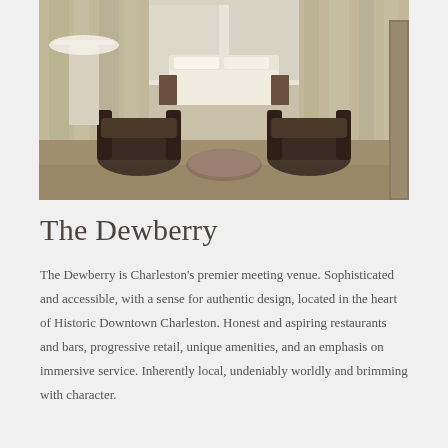[Figure (photo): Interior hotel room photo showing an elegant space with beige/cream curtains, a white bed in the background, two dark wood armchairs with a round coffee table in the foreground, and a large white lamp on the left side.]
The Dewberry
The Dewberry is Charleston's premier meeting venue. Sophisticated and accessible, with a sense for authentic design, located in the heart of Historic Downtown Charleston. Honest and aspiring restaurants and bars, progressive retail, unique amenities, and an emphasis on immersive service. Inherently local, undeniably worldly and brimming with character.